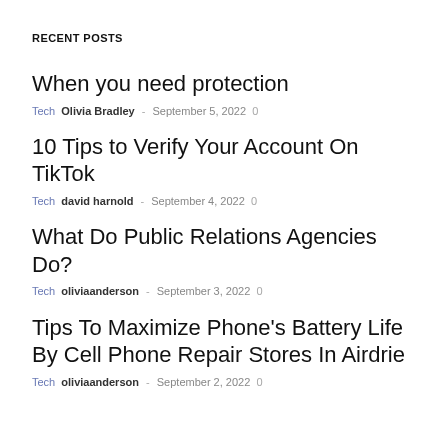RECENT POSTS
When you need protection
Tech Olivia Bradley – September 5, 2022 0
10 Tips to Verify Your Account On TikTok
Tech david harnold – September 4, 2022 0
What Do Public Relations Agencies Do?
Tech oliviaanderson – September 3, 2022 0
Tips To Maximize Phone's Battery Life By Cell Phone Repair Stores In Airdrie
Tech oliviaanderson – September 2, 2022 0